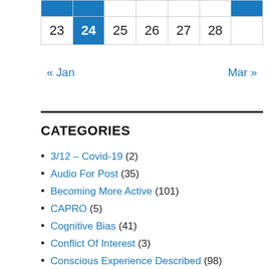|  |  |  |  |  |  |  |
| --- | --- | --- | --- | --- | --- | --- |
|  |  |  |  |  |  |  |
| 23 | 24 | 25 | 26 | 27 | 28 |  |
« Jan    Mar »
CATEGORIES
3/12 – Covid-19 (2)
Audio For Post (35)
Becoming More Active (101)
CAPRO (5)
Cognitive Bias (41)
Conflict Of Interest (3)
Conscious Experience Described (98)
Conversations With Des (25)